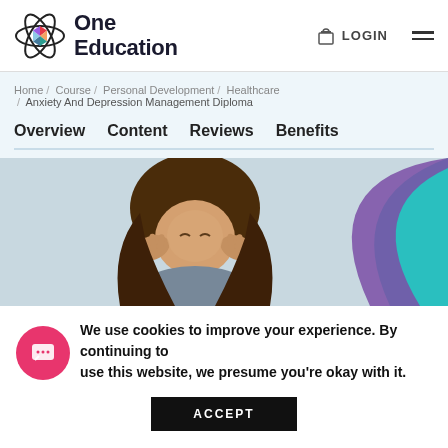One Education — LOGIN
Home / Course / Personal Development / Healthcare / Anxiety And Depression Management Diploma
Overview   Content   Reviews   Benefits
[Figure (photo): Woman holding her head in her hands, appearing stressed or anxious, sitting indoors. Decorative purple and teal curved shapes on the right side of the image.]
We use cookies to improve your experience. By continuing to use this website, we presume you're okay with it.
ACCEPT